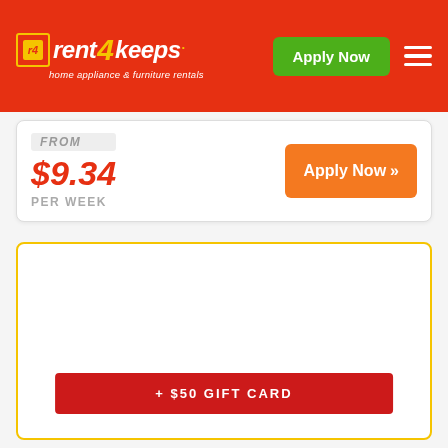[Figure (logo): Rent4Keeps logo with orange/red box icon, 'rent 4 keeps' text in white and yellow italic, tagline 'home appliance & furniture rentals' below]
Apply Now
FROM
$9.34
PER WEEK
Apply Now »
+ $50 GIFT CARD